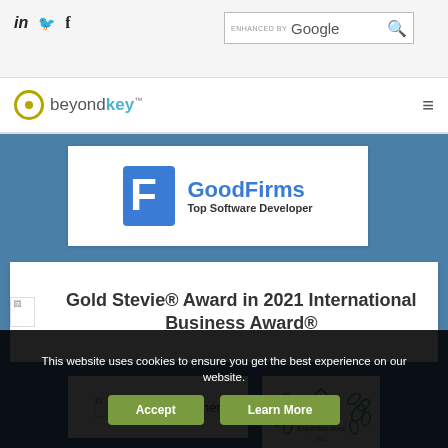in  twitter  f  |  ENHANCED BY Google [search]
[Figure (logo): beyondkey logo with yellow circle and cyan text]
[Figure (logo): GoodFirms Top Software Developer badge with blue F icon]
Gold Stevie® Award in 2021 International Business Award®
Titan Gold winner
[Figure (logo): Expertise.com award badge 2022 with teal laurel wreath]
This website uses cookies to ensure you get the best experience on our website.
Accept  Learn More